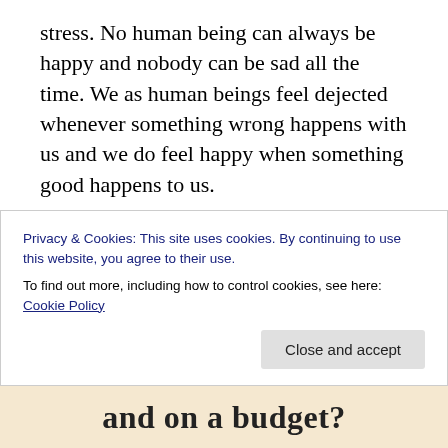stress. No human being can always be happy and nobody can be sad all the time. We as human beings feel dejected whenever something wrong happens with us and we do feel happy when something good happens to us.
Rose is an embodiment of love, passion and beauty. Its fragrance touches our heart and its soft petals soothe our emotions. But whenever we try to hold it, it hurts us with its prickling thorns. It signifies that whenever we want to achieve something big in life, something which gives us happiness and
Privacy & Cookies: This site uses cookies. By continuing to use this website, you agree to their use.
To find out more, including how to control cookies, see here: Cookie Policy
Close and accept
and on a budget?